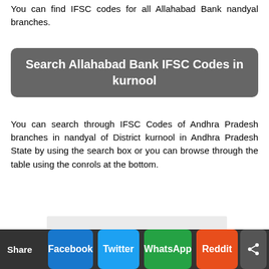You can find IFSC codes for all Allahabad Bank nandyal branches.
Search Allahabad Bank IFSC Codes in kurnool
You can search through IFSC Codes of Andhra Pradesh branches in nandyal of District kurnool in Andhra Pradesh State by using the search box or you can browse through the table using the conrols at the bottom.
[Figure (other): Advertisement placeholder box, light gray background]
Share | Facebook | Twitter | WhatsApp | Reddit